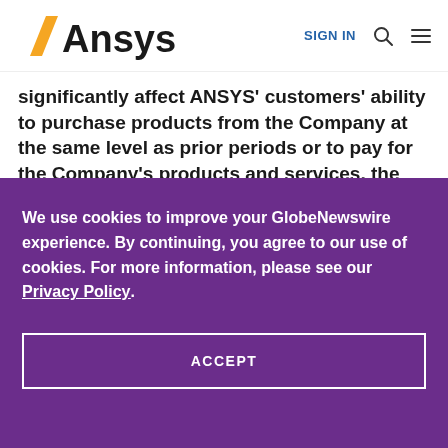Ansys | SIGN IN
significantly affect ANSYS' customers' ability to purchase products from the Company at the same level as prior periods or to pay for the Company's products and services, the risk that
We use cookies to improve your GlobeNewswire experience. By continuing, you agree to our use of cookies. For more information, please see our Privacy Policy.
ACCEPT